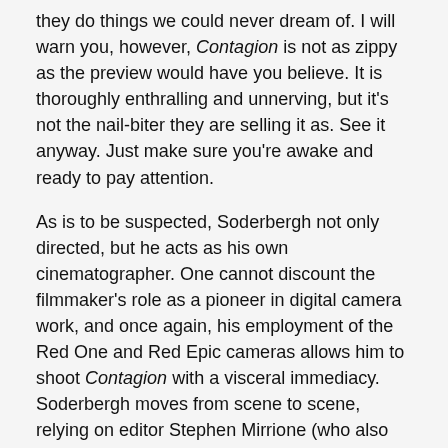they do things we could never dream of. I will warn you, however, Contagion is not as zippy as the preview would have you believe. It is thoroughly enthralling and unnerving, but it's not the nail-biter they are selling it as. See it anyway. Just make sure you're awake and ready to pay attention.
As is to be suspected, Soderbergh not only directed, but he acts as his own cinematographer. One cannot discount the filmmaker's role as a pioneer in digital camera work, and once again, his employment of the Red One and Red Epic cameras allows him to shoot Contagion with a visceral immediacy. Soderbergh moves from scene to scene, relying on editor Stephen Mirrione (who also cut Traffic) to help him keep it all straight. There are elements of political and board-room movies, and there are also more typical suspense sequences and even touches of family drama. Much of the production is spartan. Soderbergh doesn't overdress his sets. He also keeps the music subtle, using Cliff Martinez's futuristic, alienating electronic squiggles to set the queasiness of the mood.
The conclusion...